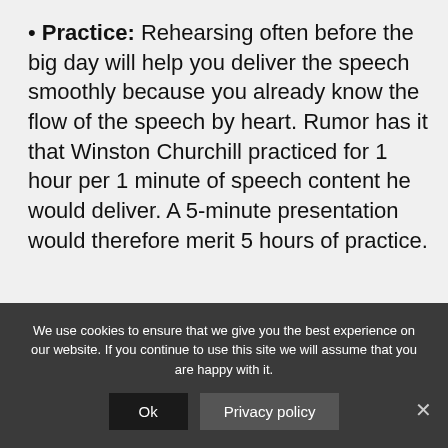• Practice: Rehearsing often before the big day will help you deliver the speech smoothly because you already know the flow of the speech by heart. Rumor has it that Winston Churchill practiced for 1 hour per 1 minute of speech content he would deliver. A 5-minute presentation would therefore merit 5 hours of practice.
• Get acquainted with the room: Is
We use cookies to ensure that we give you the best experience on our website. If you continue to use this site we will assume that you are happy with it.